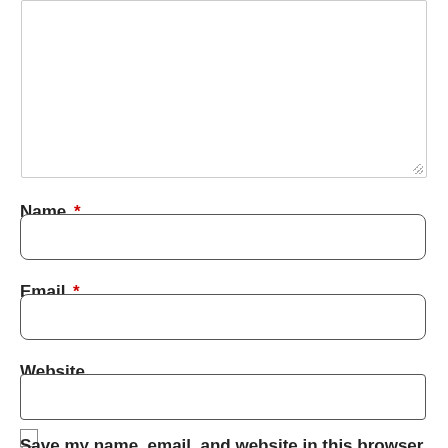[Figure (screenshot): A web form partial view showing a textarea (comment box) at the top with a resize handle, followed by Name field with red asterisk and rounded input box, Email field with red asterisk and rounded input box, Website field with sharp-corner input box, a checkbox, and bold text 'Save my name, email, and website in this browser']
Name *
Email *
Website
Save my name, email, and website in this browser